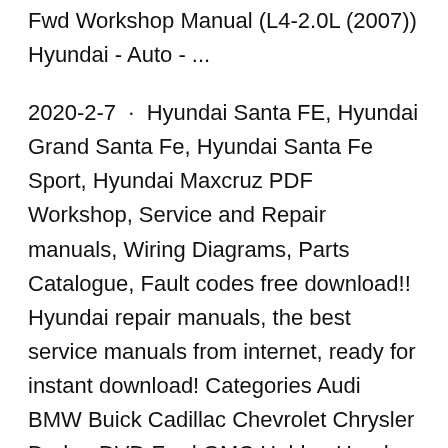Fwd Workshop Manual (L4-2.0L (2007)) Hyundai - Auto - ...
2020-2-7 · Hyundai Santa FE, Hyundai Grand Santa Fe, Hyundai Santa Fe Sport, Hyundai Maxcruz PDF Workshop, Service and Repair manuals, Wiring Diagrams, Parts Catalogue, Fault codes free download!! Hyundai repair manuals, the best service manuals from internet, ready for instant download! Categories Audi BMW Buick Cadillac Chevrolet Chrysler Dodge DVD Ford GMC Holden Honda Hyundai 2005 2006 2007 Hyundai Tucson Service Manual. Price: $0.01. Type:pdf. Size:688 KB. Details.
Para encontrar más libros sobre 2006 hyundai tucson 20 crdi service manual, puede utilizar las